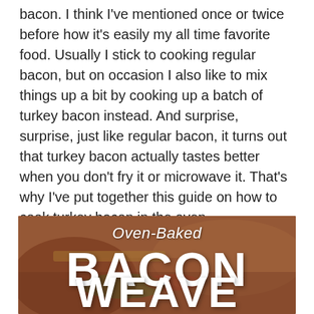bacon. I think I've mentioned once or twice before how it's easily my all time favorite food. Usually I stick to cooking regular bacon, but on occasion I also like to mix things up a bit by cooking up a batch of turkey bacon instead. And surprise, surprise, just like regular bacon, it turns out that turkey bacon actually tastes better when you don't fry it or microwave it. That's why I've put together this guide on how to cook turkey bacon in the oven.
[Figure (photo): Food photo with overlaid text reading 'Oven-Baked BACON WEAVE' in white text on a background showing cooked bacon and a sandwich]